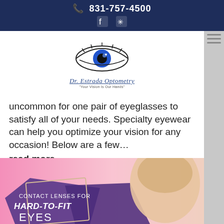📞 831-757-4500
[Figure (logo): Dr. Estrada Optometry logo with blue eye graphic and italic text 'Dr. Estrada Optometry' and tagline 'Your Vision Is Our Hands']
uncommon for one pair of eyeglasses to satisfy all of your needs. Specialty eyewear can help you optimize your vision for any occasion! Below are a few… read more
[Figure (photo): Promotional image for 'Contact Lenses for Hard-to-Fit Eyes' featuring a young woman with blue eyes placing a contact lens, set against a pink background with purple paint splash graphic elements]